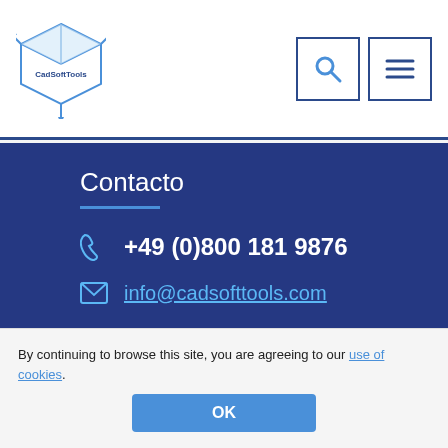[Figure (logo): CadSoftTools logo: 3D box icon in blue with text 'CadSoftTools']
[Figure (screenshot): Search icon button (magnifying glass) and hamburger menu icon button in header]
Contacto
+49 (0)800 181 9876
info@cadsofttools.com
support@cadsofttools.com
[Figure (infographic): Twitter and YouTube social media icon buttons]
By continuing to browse this site, you are agreeing to our use of cookies.
OK